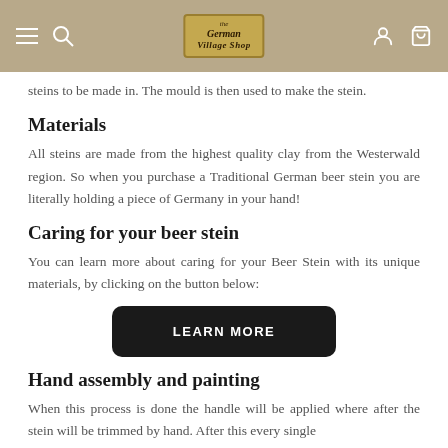The German Village Shop
steins to be made in. The mould is then used to make the stein.
Materials
All steins are made from the highest quality clay from the Westerwald region. So when you purchase a Traditional German beer stein you are literally holding a piece of Germany in your hand!
Caring for your beer stein
You can learn more about caring for your Beer Stein with its unique materials, by clicking on the button below:
[Figure (other): LEARN MORE button - black rounded rectangle button with white bold uppercase text]
Hand assembly and painting
When this process is done the handle will be applied where after the stein will be trimmed by hand. After this every single